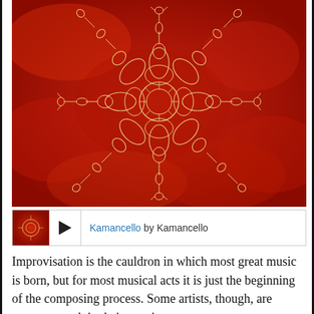[Figure (illustration): A red-orange painting featuring a symmetrical snowflake-like mandala pattern made of violins and stringed instruments arranged in cross and diagonal formation, with ornate golden outlines on a fiery red background.]
Kamancello by Kamancello
Improvisation is the cauldron in which most great music is born, but for most musical acts it is just the beginning of the composing process. Some artists, though, are secure enough in their creative